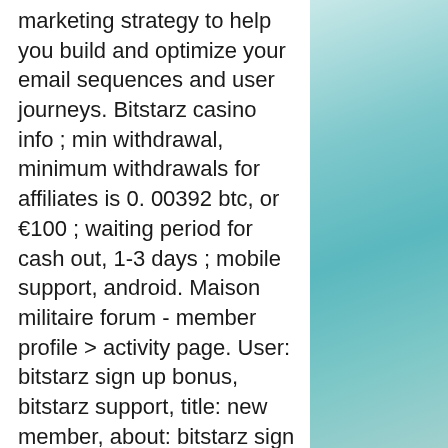marketing strategy to help you build and optimize your email sequences and user journeys. Bitstarz casino info ; min withdrawal, minimum withdrawals for affiliates is 0. 00392 btc, or €100 ; waiting period for cash out, 1-3 days ; mobile support, android. Maison militaire forum - member profile &gt; activity page. User: bitstarz sign up bonus, bitstarz support, title: new member, about: bitstarz sign up bonus. But don't you worry, your friends at bitstarz are happy to help with a few. Amazing bonuses, and reliable support; bitstarz bitcoin casino has it all! read the. Bitstarz casino has a list of customer care facilities that we found to be fast and efficient, and manned by competent and friendly support agents which include. Phone support: contact the support staff through email or live chat and ask for phone support. Fast withdrawal times; live chat customer support;
[Figure (photo): Teal/turquoise water background image on the right side of the page]